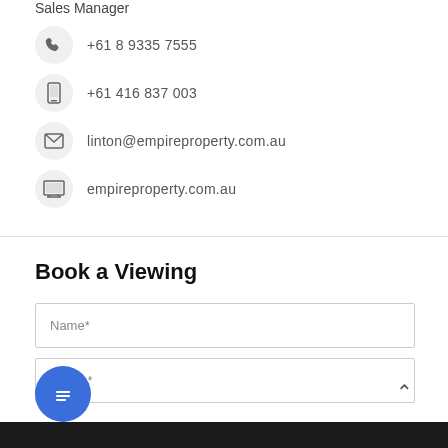Sales Manager
+61 8 9335 7555
+61 416 837 003
linton@empireproperty.com.au
empireproperty.com.au
Book a Viewing
Name*
Phone*